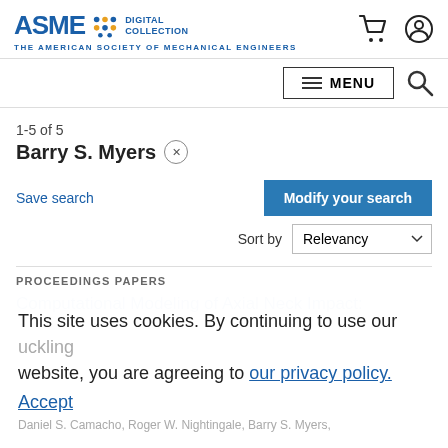ASME DIGITAL COLLECTION — THE AMERICAN SOCIETY OF MECHANICAL ENGINEERS
1-5 of 5
Barry S. Myers ×
Save search
Modify your search
Sort by Relevancy
PROCEEDINGS PAPERS
Computational Modeling of Axial Neck Impact: … buckling
This site uses cookies. By continuing to use our website, you are agreeing to our privacy policy. Accept
Daniel S. Camacho, Roger W. Nightingale, Barry S. Myers,